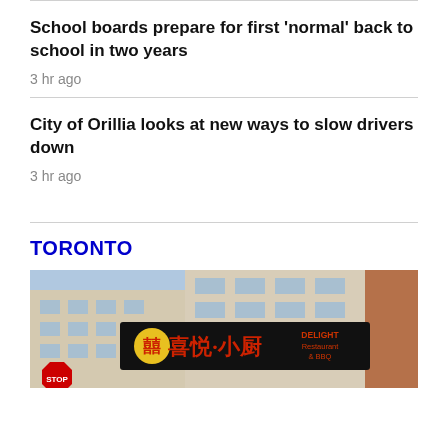School boards prepare for first 'normal' back to school in two years
3 hr ago
City of Orillia looks at new ways to slow drivers down
3 hr ago
TORONTO
[Figure (photo): Street-level photo of a Chinese restaurant called 'Delight Restaurant & BBQ' with Chinese characters on a black sign with a yellow circle logo, mounted on a beige commercial building. A stop sign is visible in the lower left corner.]